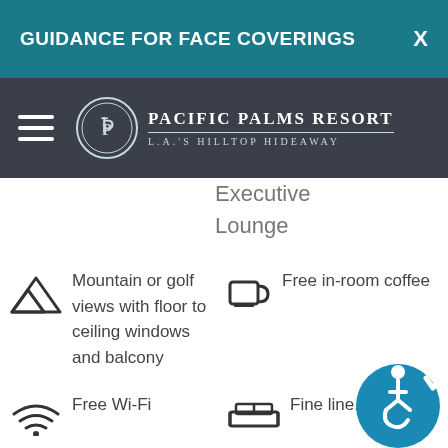GUIDANCE FOR FACE COVERINGS  X
[Figure (logo): Pacific Palms Resort logo with palm tree emblem and text 'Pacific Palms Resort, L.A.'s Hilltop Hideaway']
Executive
Lounge
Mountain or golf views with floor to ceiling windows and balcony
Free in-room coffee
Free Wi-Fi
Fine line...